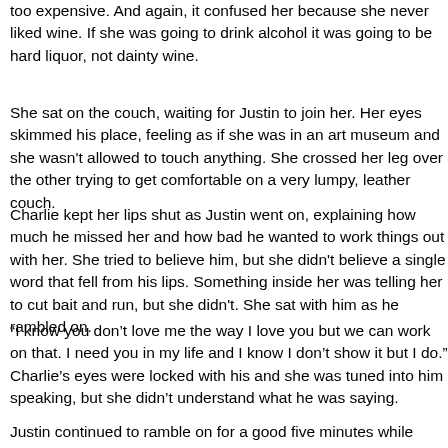too expensive. And again, it confused her because she never liked wine. If she was going to drink alcohol it was going to be hard liquor, not dainty wine.
She sat on the couch, waiting for Justin to join her. Her eyes skimmed his place, feeling as if she was in an art museum and she wasn't allowed to touch anything. She crossed her leg over the other trying to get comfortable on a very lumpy, leather couch.
Charlie kept her lips shut as Justin went on, explaining how much he missed her and how bad he wanted to work things out with her. She tried to believe him, but she didn't believe a single word that fell from his lips. Something inside her was telling her to cut bait and run, but she didn't. She sat with him as he rambled on.
“I know you don’t love me the way I love you but we can work on that. I need you in my life and I know I don’t show it but I do.” Charlie’s eyes were locked with his and she was tuned into him speaking, but she didn’t understand what he was saying.
Being needed was something that Charlie wasn’t familiar with. She had never felt needed in her life, and a big part of that was because her parents didn’t need her. When Justin expressed how much he needed her, Charlie just didn’t feel it. She didn’t feel as if she was needed by him.
Justin continued to ramble on for a good five minutes while Charl...